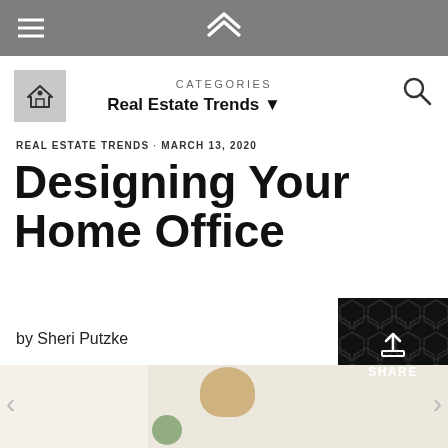Navigation header with hamburger menu, site logo, categories dropdown, home icon, search icon
CATEGORIES
Real Estate Trends ▼
REAL ESTATE TRENDS · MARCH 13, 2020
Designing Your Home Office
by Sheri Putzke
[Figure (photo): Partial view of a home office with a woven basket, green plants, and a grid wall organizer on a white desk]
[Figure (other): Share button with upload icon on dark background with honeycomb pattern]